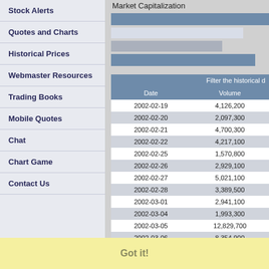Stock Alerts
Quotes and Charts
Historical Prices
Webmaster Resources
Trading Books
Mobile Quotes
Chat
Chart Game
Contact Us
Market Capitalization
Filter the historical d
| Date | Volume |
| --- | --- |
| 2002-02-19 | 4,126,200 |
| 2002-02-20 | 2,097,300 |
| 2002-02-21 | 4,700,300 |
| 2002-02-22 | 4,217,100 |
| 2002-02-25 | 1,570,800 |
| 2002-02-26 | 2,929,100 |
| 2002-02-27 | 5,021,100 |
| 2002-02-28 | 3,389,500 |
| 2002-03-01 | 2,941,100 |
| 2002-03-04 | 1,993,300 |
| 2002-03-05 | 12,829,700 |
| 2002-03-06 | 8,354,900 |
| 2002-03-07 | 6,509,200 |
| 2002-03-08 | 4,116,700 |
| 2002-03-11 | 4,824,000 |
| 2002-03-12 | 3,239,600 |
| 2002-03-13 | 1,536,100 |
| 2002-03-14 | 3,769,200 |
| 2002-03-15 | 2,088,000 |
| 2002-03-18 | 1,991,800 |
| 2002-03-19 | 1,935,500 |
This website uses cookies to ensure you get the best experience on our website.
Learn more
Got it!